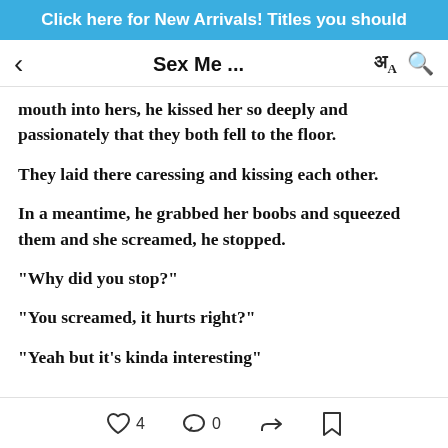Click here for New Arrivals! Titles you should
Sex Me ...
mouth into hers, he kissed her so deeply and passionately that they both fell to the floor.
They laid there caressing and kissing each other.
In a meantime, he grabbed her boobs and squeezed them and she screamed, he stopped.
"Why did you stop?"
"You screamed, it hurts right?"
"Yeah but it's kinda interesting"
4  0